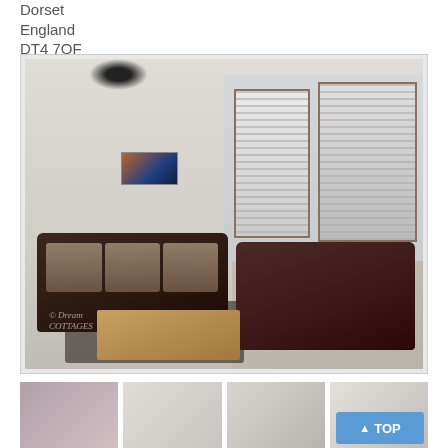Dorset
England
DT4 7QF
[Figure (photo): Interior photo of a living room with two dark brown leather sofas, decorative cushions, a wooden coffee table on a dark rug, bay windows with venetian blinds, artwork on wall, and chandelier. Watermark reads Dream Cottages.]
[Figure (photo): Thumbnail 1 - bedroom with curtains]
[Figure (photo): Thumbnail 2 - white room interior]
[Figure (photo): Thumbnail 3 - light room interior]
[Figure (photo): Thumbnail 4 - room interior]